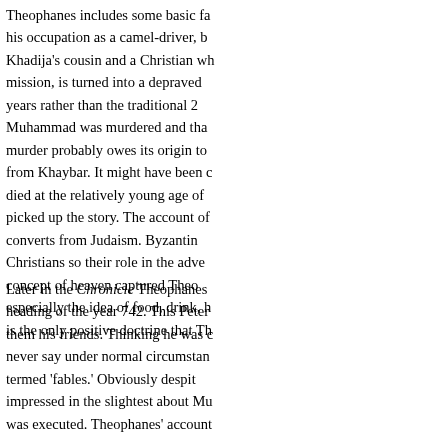Theophanes includes some basic fa his occupation as a camel-driver, b Khadija's cousin and a Christian wh mission, is turned into a depraved years rather than the traditional 2 Muhammad was murdered and tha murder probably owes its origin to from Khaybar. It might have been died at the relatively young age o picked up the story. The account of converts from Judaism. Byzantin Christians so their role in the adven concept of heaven captured Theo especially the idea of food, drink, h is the only positive doctrine that Th
Later in the Chronicle Theophanes heading of the year 742. This Peter them his friends. Thinking he was c never say under normal circumstanc termed 'fables.' Obviously despit impressed in the slightest about Mu was executed. Theophanes' account